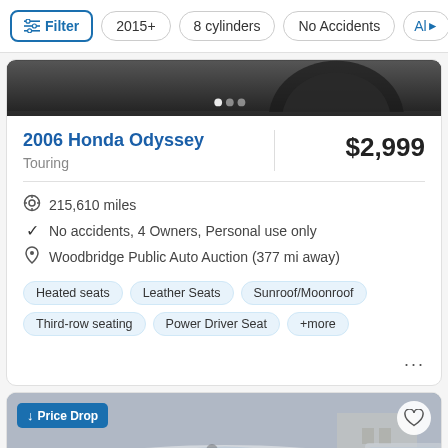Filter  2015+  8 cylinders  No Accidents  Al▶
[Figure (screenshot): Dark strip showing top of a car wheel/hood in a listing card, with dot page indicators]
2006 Honda Odyssey
Touring
$2,999
215,610 miles
No accidents, 4 Owners, Personal use only
Woodbridge Public Auto Auction (377 mi away)
Heated seats  Leather Seats  Sunroof/Moonroof  Third-row seating  Power Driver Seat  +more
[Figure (photo): Photo of a silver car (price drop listing), front view, with Price Drop badge and heart save button]